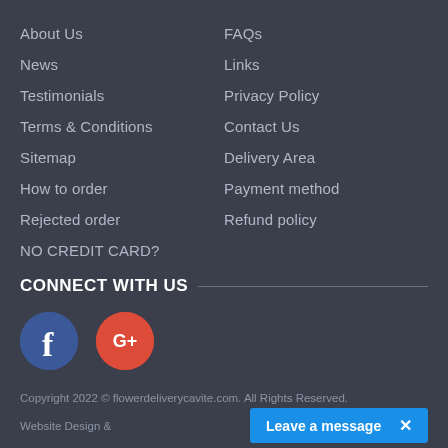About Us
FAQs
News
Links
Testimonials
Privacy Policy
Terms & Conditions
Contact Us
Sitemap
Delivery Area
How to order
Payment method
Rejected order
Refund policy
NO CREDIT CARD?
CONNECT WITH US
[Figure (logo): Facebook blue circle icon with white 'f' letter]
[Figure (logo): Google Plus red circle icon with white 'G+' text]
Copyright 2022 © flowerdeliverycavite.com. All Rights Reserved.
Website Design &
Leave a message  ×